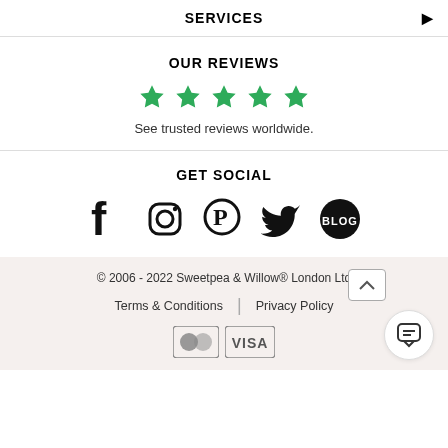SERVICES
OUR REVIEWS
[Figure (other): Five green stars rating]
See trusted reviews worldwide.
GET SOCIAL
[Figure (other): Social media icons: Facebook, Instagram, Pinterest, Twitter, Blog]
© 2006 - 2022 Sweetpea & Willow® London Ltd
Terms & Conditions | Privacy Policy
[Figure (other): Mastercard and Visa payment icons]